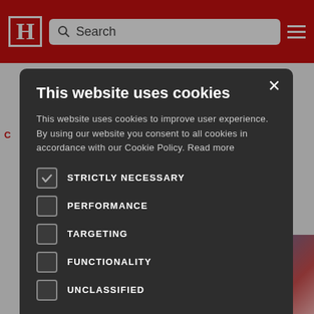[Figure (screenshot): Red website header with H logo, search bar, and hamburger menu icon]
This website uses cookies
This website uses cookies to improve user experience. By using our website you consent to all cookies in accordance with our Cookie Policy. Read more
STRICTLY NECESSARY (checked)
PERFORMANCE
TARGETING
FUNCTIONALITY
UNCLASSIFIED
ACCEPT ALL
DECLINE ALL
SHOW DETAILS